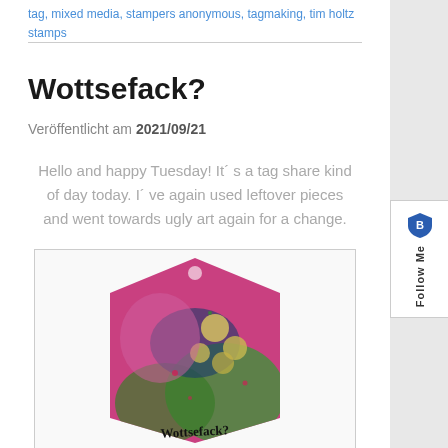tag, mixed media, stampers anonymous, tagmaking, tim holtz stamps
Wottsefack?
Veröffentlicht am 2021/09/21
Hello and happy Tuesday! It´s a tag share kind of day today. I´ve again used leftover pieces and went towards ugly art again for a change.
[Figure (photo): A colorful mixed media art tag with bright pinks, greens, and blues, featuring floral patterns and text reading 'Wottsefack?' at the bottom in handwritten style.]